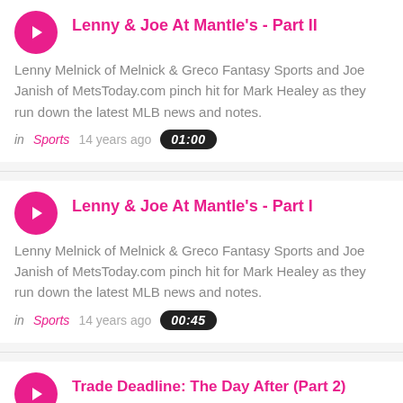Lenny & Joe At Mantle's - Part II
Lenny Melnick of Melnick & Greco Fantasy Sports and Joe Janish of MetsToday.com pinch hit for Mark Healey as they run down the latest MLB news and notes.
in Sports   14 years ago   01:00
Lenny & Joe At Mantle's - Part I
Lenny Melnick of Melnick & Greco Fantasy Sports and Joe Janish of MetsToday.com pinch hit for Mark Healey as they run down the latest MLB news and notes.
in Sports   14 years ago   00:45
Trade Deadline: The Day After (Part 2)
Gotham Baseball's Mark Healey, MetsToday.com's Joe…